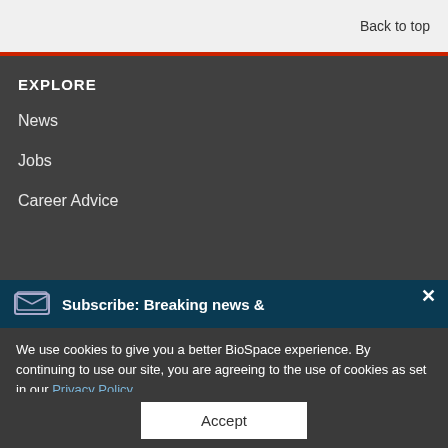Back to top
EXPLORE
News
Jobs
Career Advice
Subscribe: Breaking news &
We use cookies to give you a better BioSpace experience. By continuing to use our site, you are agreeing to the use of cookies as set in our Privacy Policy.
Accept